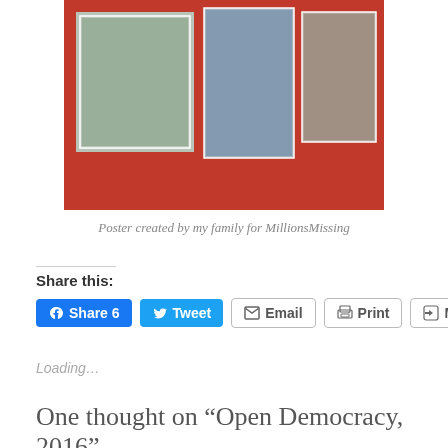[Figure (photo): A red photo album/poster showing three photographs: a family group photo on the left, a person in a wheelchair in the center, and a person lying in bed on the right.]
Poster created by my family for MillionsMissing
Share this:
Share 6 Tweet Email Print More
Loading...
One thought on “Open Democracy, 2016”